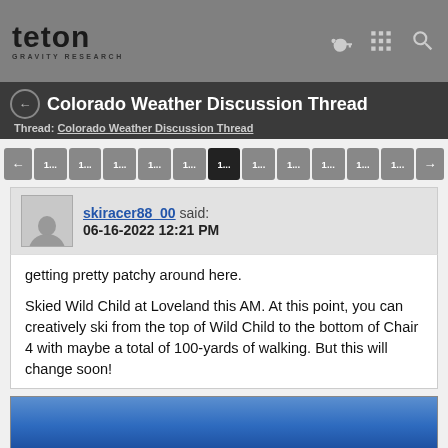Teton Gravity Research
Colorado Weather Discussion Thread
Thread: Colorado Weather Discussion Thread
1... 1... 1... 1... 1... 1... 1... 1... 1... 1... 1...
skiracer88_00 said: 06-16-2022 12:21 PM
getting pretty patchy around here.

Skied Wild Child at Loveland this AM. At this point, you can creatively ski from the top of Wild Child to the bottom of Chair 4 with maybe a total of 100-yards of walking. But this will change soon!
[Figure (photo): Blue sky photo, partially visible at bottom of page]